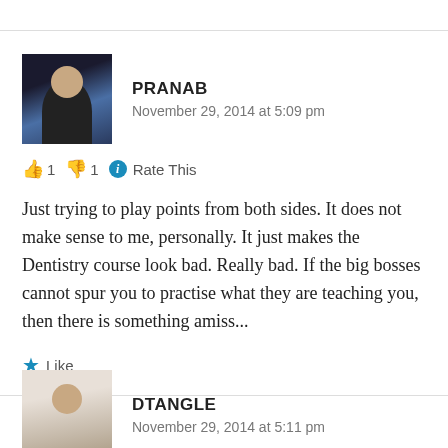[Figure (photo): Avatar photo of Pranab, a man in dark clothing against a blue background]
PRANAB
November 29, 2014 at 5:09 pm
👍 1 👎 1 ℹ Rate This
Just trying to play points from both sides. It does not make sense to me, personally. It just makes the Dentistry course look bad. Really bad. If the big bosses cannot spur you to practise what they are teaching you, then there is something amiss...
★ Like
[Figure (photo): Avatar photo of Dtangle, a woman with glasses]
DTANGLE
November 29, 2014 at 5:11 pm